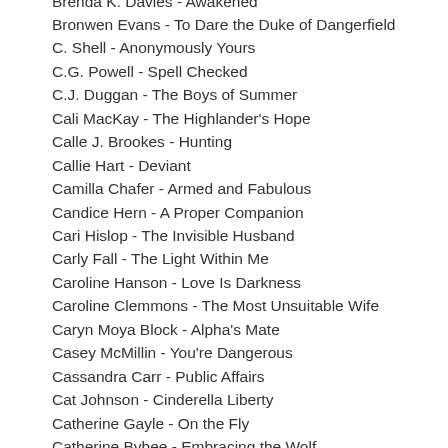Brenda K. Davies - Awakened
Bronwen Evans - To Dare the Duke of Dangerfield
C. Shell - Anonymously Yours
C.G. Powell - Spell Checked
C.J. Duggan - The Boys of Summer
Cali MacKay - The Highlander's Hope
Calle J. Brookes - Hunting
Callie Hart - Deviant
Camilla Chafer - Armed and Fabulous
Candice Hern - A Proper Companion
Cari Hislop - The Invisible Husband
Carly Fall - The Light Within Me
Caroline Hanson - Love Is Darkness
Caroline Clemmons - The Most Unsuitable Wife
Caryn Moya Block - Alpha's Mate
Casey McMillin - You're Dangerous
Cassandra Carr - Public Affairs
Cat Johnson - Cinderella Liberty
Catherine Gayle - On the Fly
Catherine Bybee - Embracing the Wolf
Cathryn Fox - Torn Between Two Brothers
Cecilia Tan - Bards and Suiters Chronicles Vol...